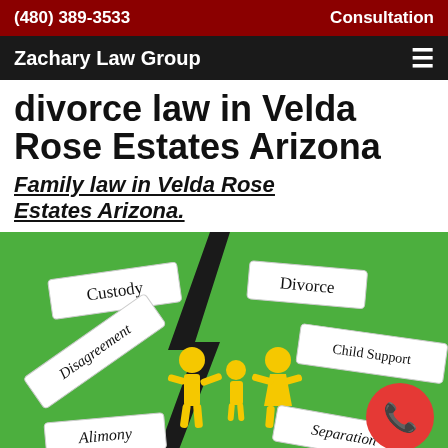(480) 389-3533    Consultation
Zachary Law Group
divorce law in Velda Rose Estates Arizona
Family law in Velda Rose Estates Arizona.
[Figure (illustration): Green background illustration split by a black crack/lightning bolt. Paper cut-out labels reading Custody, Divorce, Disagreement, Child Support, Disagreement, Alimony, Separation. Yellow paper cut-out family figures (two adults and one child) holding hands straddling the crack. Red circular phone/call button in lower right.]